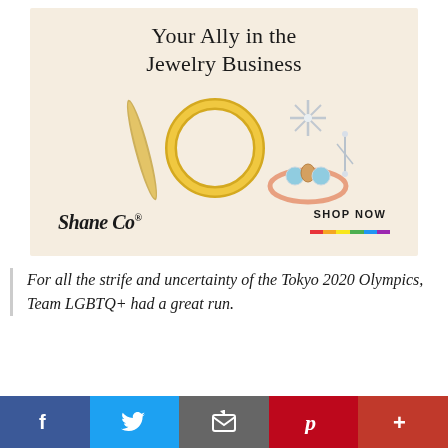[Figure (advertisement): Shane Co. jewelry advertisement on a cream/beige background. Title reads 'Your Ally in the Jewelry Business'. Shows gold hoop earrings, star-shaped diamond stud earrings, and a rose gold ring with gemstones. Shane Co. script logo on left, 'SHOP NOW' with rainbow underline on right.]
For all the strife and uncertainty of the Tokyo 2020 Olympics, Team LGBTQ+ had a great run.
[Figure (infographic): Social media share buttons bar: Facebook (blue), Twitter (light blue), Email (grey), Pinterest (red), More (darker red)]